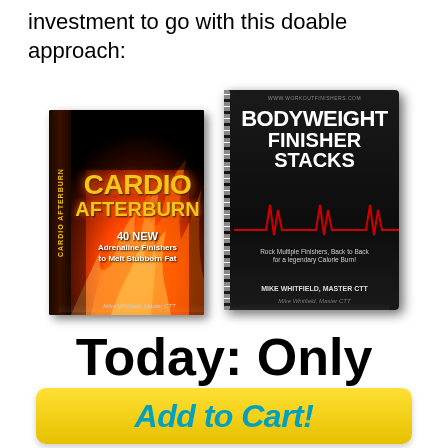investment to go with this doable approach:
[Figure (illustration): Two book covers side by side: 'Cardio Afterburn - 40 NEW Adrenaline Finishers to Melt Stubborn Fat' by Mike Whitfield, Master CTT (left, fire-themed cover), and 'Bodyweight Finisher Stacks' by Mike Whitfield, Master CTT (right, dark cover with heartbeat line and spiral binding).]
Today: Only $19
Add to Cart!